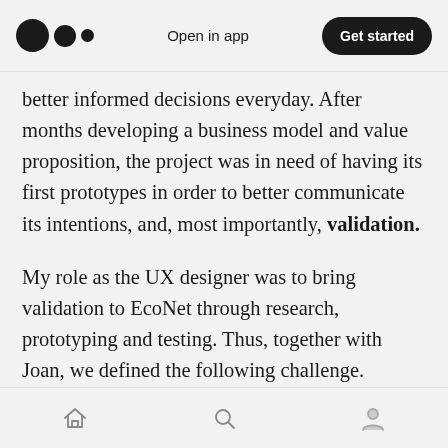Open in app | Get started
better informed decisions everyday. After months developing a business model and value proposition, the project was in need of having its first prototypes in order to better communicate its intentions, and, most importantly, validation.
My role as the UX designer was to bring validation to EcoNet through research, prototyping and testing. Thus, together with Joan, we defined the following challenge.
How Might We help people
Home | Search | Profile